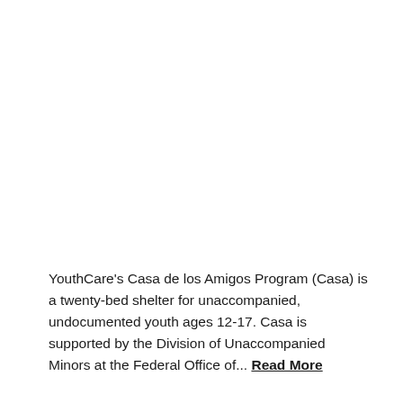YouthCare's Casa de los Amigos Program (Casa) is a twenty-bed shelter for unaccompanied, undocumented youth ages 12-17. Casa is supported by the Division of Unaccompanied Minors at the Federal Office of... Read More